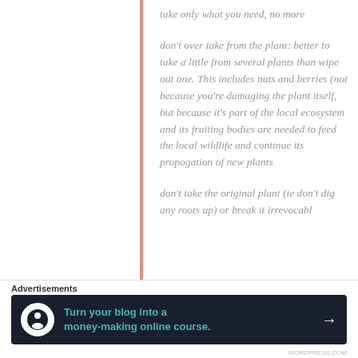take only what you need, no more
don't over take from the plant: better to take a little from several plants than wipe out one. This includes nuts and berries (not because you're damaging the plant itself, but because it's part of the local ecosystem and its fruiting bodies are needed to feed the local wildlife and continue its propogation of new plants
don't take the original plant (ie don't dig any roots up) or break it irrevocabl
Advertisements
[Figure (infographic): Dark advertisement banner: 'Turn your blog into a money-making online course.' with arrow button]